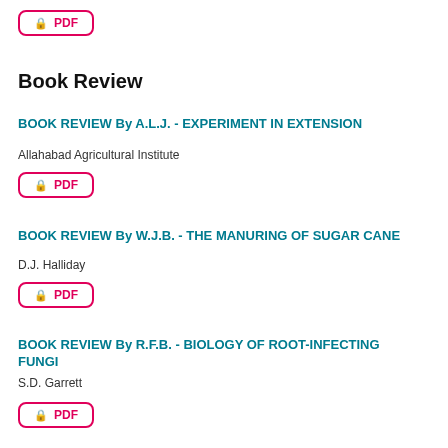[Figure (other): PDF download button with lock icon at top of page]
Book Review
BOOK REVIEW By A.L.J. - EXPERIMENT IN EXTENSION
Allahabad Agricultural Institute
[Figure (other): PDF download button with lock icon]
BOOK REVIEW By W.J.B. - THE MANURING OF SUGAR CANE
D.J. Halliday
[Figure (other): PDF download button with lock icon]
BOOK REVIEW By R.F.B. - BIOLOGY OF ROOT-INFECTING FUNGI
S.D. Garrett
[Figure (other): PDF download button with lock icon (partial)]